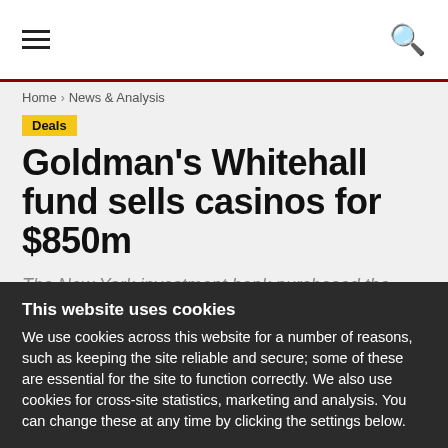≡  🔍
Home › News & Analysis
Deals
Goldman's Whitehall fund sells casinos for $850m
The New York investment bank purchased the company for $1.3bn through its 2007-vintage fund.
Meghan Morris - 15 June 2017
This website uses cookies
We use cookies across this website for a number of reasons, such as keeping the site reliable and secure; some of these are essential for the site to function correctly. We also use cookies for cross-site statistics, marketing and analysis. You can change these at any time by clicking the settings below.